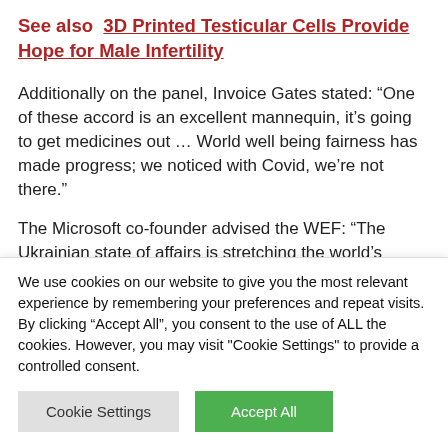See also  3D Printed Testicular Cells Provide Hope for Male Infertility
Additionally on the panel, Invoice Gates stated: “One of these accord is an excellent mannequin, it’s going to get medicines out … World well being fairness has made progress; we noticed with Covid, we’re not there.”
The Microsoft co-founder advised the WEF: “The Ukrainian state of affairs is stretching the world’s sources and we see that when it comes to sources for
We use cookies on our website to give you the most relevant experience by remembering your preferences and repeat visits. By clicking “Accept All”, you consent to the use of ALL the cookies. However, you may visit "Cookie Settings" to provide a controlled consent.